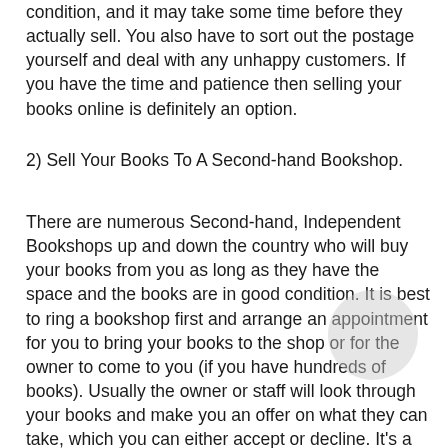condition, and it may take some time before they actually sell. You also have to sort out the postage yourself and deal with any unhappy customers. If you have the time and patience then selling your books online is definitely an option.
2) Sell Your Books To A Second-hand Bookshop.
There are numerous Second-hand, Independent Bookshops up and down the country who will buy your books from you as long as they have the space and the books are in good condition. It is best to ring a bookshop first and arrange an appointment for you to bring your books to the shop or for the owner to come to you (if you have hundreds of books). Usually the owner or staff will look through your books and make you an offer on what they can take, which you can either accept or decline. It's a quick and easy way